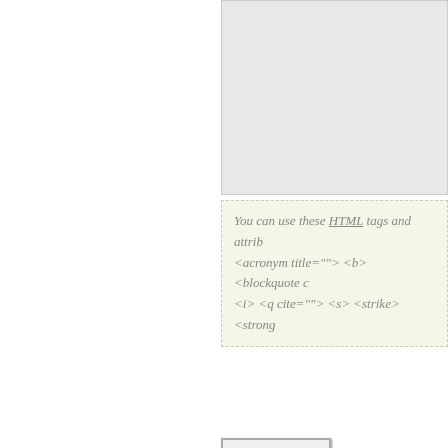[Figure (screenshot): Textarea input box with grey background, cropped at top of page]
You can use these HTML tags and attrib <acronym title=""> <b> <blockquote c <i> <q cite=""> <s> <strike> <strong
Submit
Previous post: Ten Greatest Chess Playe
Next post: Google Wants You to Tell it a